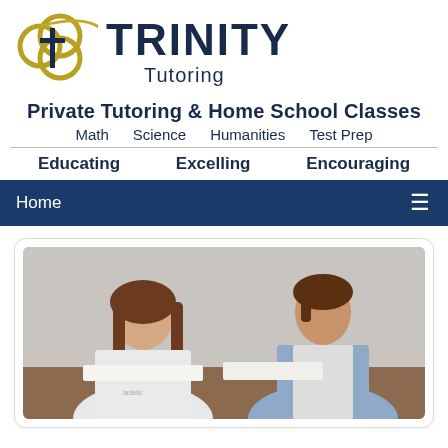[Figure (logo): Trinity Tutoring logo with interlocking rings and cross symbol, with swoosh arc]
TRINITY Tutoring
Private Tutoring & Home School Classes
Math   Science   Humanities   Test Prep
Educating   Excelling   Encouraging
Home
[Figure (photo): Two young girls studying together at a table, one in white shirt and one in denim jacket, looking at papers]